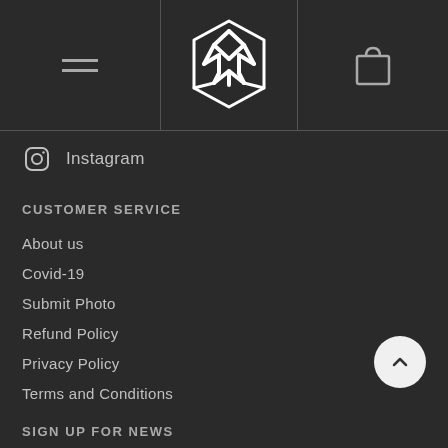[Figure (logo): Geometric hexagonal white logo made of overlapping arrows/shapes, centered in header]
Instagram
CUSTOMER SERVICE
About us
Covid-19
Submit Photo
Refund Policy
Privacy Policy
Terms and Conditions
Terms of Service
Refund Policy
Shipping Policy
SIGN UP FOR NEWS